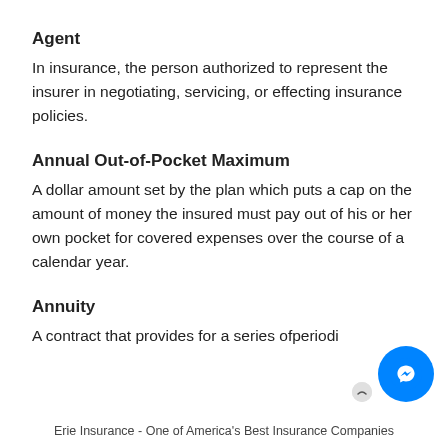Agent
In insurance, the person authorized to represent the insurer in negotiating, servicing, or effecting insurance policies.
Annual Out-of-Pocket Maximum
A dollar amount set by the plan which puts a cap on the amount of money the insured must pay out of his or her own pocket for covered expenses over the course of a calendar year.
Annuity
A contract that provides for a series of periodic
Erie Insurance - One of America's Best Insurance Companies